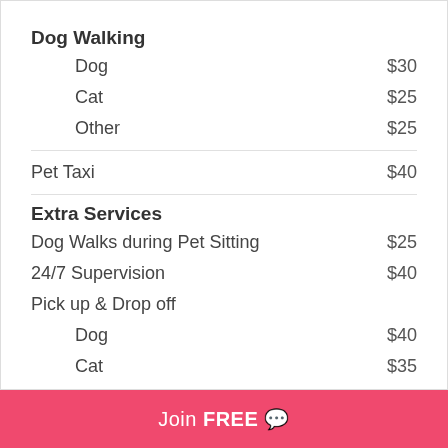Dog Walking
Dog  $30
Cat  $25
Other  $25
Pet Taxi  $40
Extra Services
Dog Walks during Pet Sitting  $25
24/7 Supervision  $40
Pick up & Drop off
Dog  $40
Cat  $35
Other  $35
Visit to Vets  $40
Join FREE 💬